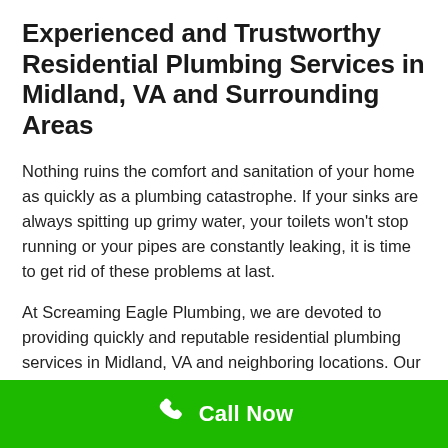Experienced and Trustworthy Residential Plumbing Services in Midland, VA and Surrounding Areas
Nothing ruins the comfort and sanitation of your home as quickly as a plumbing catastrophe. If your sinks are always spitting up grimy water, your toilets won't stop running or your pipes are constantly leaking, it is time to get rid of these problems at last.
At Screaming Eagle Plumbing, we are devoted to providing quickly and reputable residential plumbing services in Midland, VA and neighboring locations. Our plumbing contractors are well accredited and insured for your safety and comfort. We use the current and cutting-edge tools and equipment to make sure that the job is done right and right the first time.
Call Now